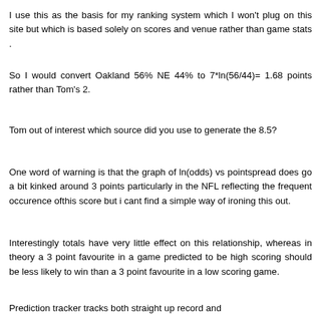I use this as the basis for my ranking system which I won't plug on this site but which is based solely on scores and venue rather than game stats .
So I would convert Oakland 56% NE 44% to 7*ln(56/44)= 1.68 points rather than Tom's 2.
Tom out of interest which source did you use to generate the 8.5?
One word of warning is that the graph of ln(odds) vs pointspread does go a bit kinked around 3 points particularly in the NFL reflecting the frequent occurence ofthis score but i cant find a simple way of ironing this out.
Interestingly totals have very little effect on this relationship, whereas in theory a 3 point favourite in a game predicted to be high scoring should be less likely to win than a 3 point favourite in a low scoring game.
Prediction tracker tracks both straight up record and